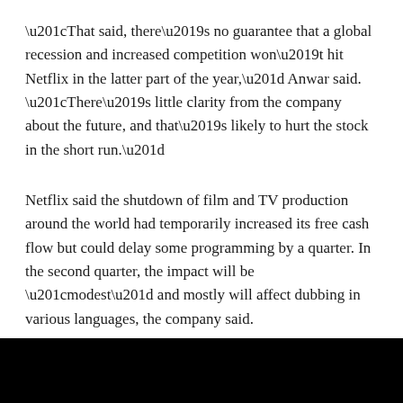“That said, there’s no guarantee that a global recession and increased competition won’t hit Netflix in the latter part of the year,” Anwar said. “There’s little clarity from the company about the future, and that’s likely to hurt the stock in the short run.”
Netflix said the shutdown of film and TV production around the world had temporarily increased its free cash flow but could delay some programming by a quarter. In the second quarter, the impact will be “modest” and mostly will affect dubbing in various languages, the company said.
[Figure (other): Black rectangular bar at the bottom of the page]